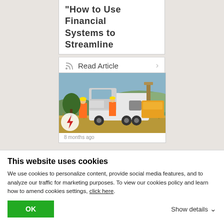"How to Use Financial Systems to Streamline
Read Article
[Figure (photo): Construction site with a large white truck/drilling vehicle and workers in orange safety vests, with dry grassy landscape and hills in background]
8 months ago
This website uses cookies
We use cookies to personalize content, provide social media features, and to analyze our traffic for marketing purposes. To view our cookies policy and learn how to amend cookies settings, click here.
OK
Show details